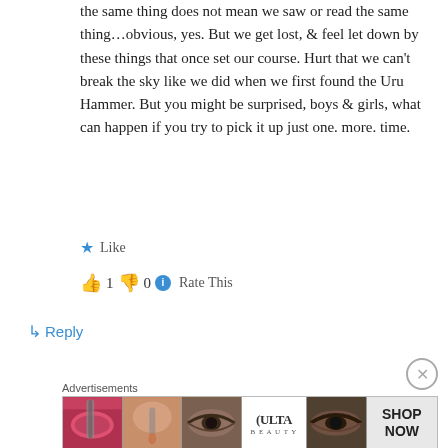the same thing does not mean we saw or read the same thing…obvious, yes. But we get lost, & feel let down by these things that once set our course. Hurt that we can't break the sky like we did when we first found the Uru Hammer. But you might be surprised, boys & girls, what can happen if you try to pick it up just one. more. time.
★ Like
👍 1  👎 0  ℹ Rate This
↳ Reply
Advertisements
[Figure (other): Advertisement banner showing cosmetics/beauty products with Ulta logo and Shop Now text]